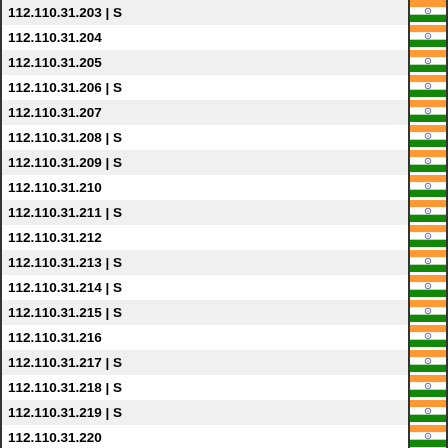| IP Address | Flag |
| --- | --- |
| 112.110.31.203 | S | India |
| 112.110.31.204 | India |
| 112.110.31.205 | India |
| 112.110.31.206 | S | India |
| 112.110.31.207 | India |
| 112.110.31.208 | S | India |
| 112.110.31.209 | S | India |
| 112.110.31.210 | India |
| 112.110.31.211 | S | India |
| 112.110.31.212 | India |
| 112.110.31.213 | S | India |
| 112.110.31.214 | S | India |
| 112.110.31.215 | S | India |
| 112.110.31.216 | India |
| 112.110.31.217 | S | India |
| 112.110.31.218 | S | India |
| 112.110.31.219 | S | India |
| 112.110.31.220 | India |
| 112.110.31.221 | S | India |
| 112.110.31.222 | India |
| 112.110.31.223 | S | India |
| 112.110.31.224 | India |
| 112.110.31.225 | SD | India |
| 112.110.31.226 | India |